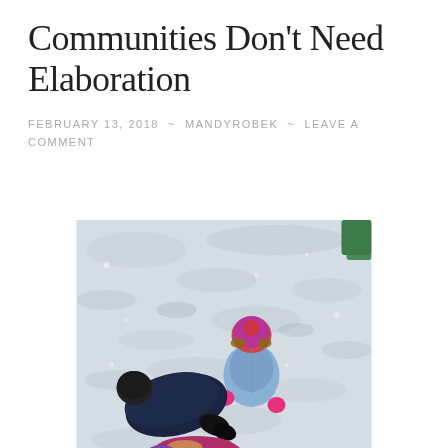Communities Don't Need Elaboration
FEBRUARY 13, 2018 ~ MANDYROBEK ~ LEAVE A COMMENT
[Figure (photo): Aerial/overhead view of children playing in snow. One child in a blue jacket and colorful hat with pink mittens stands upright, another child in a dark navy puffer jacket lies or bends down in the snow, and a third child in a pink/purple jacket is partially visible at the bottom. The ground is covered in snow.]